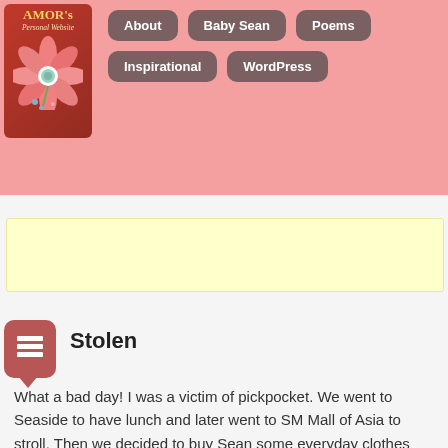[Figure (logo): AMOR's Personal Website logo with pink flower on dark red background]
About | Baby Sean | Poems | Inspirational | WordPress
[Figure (other): Yellow advertisement banner]
Stolen
What a bad day! I was a victim of pickpocket. We went to Seaside to have lunch and later went to SM Mall of Asia to stroll. Then we decided to buy Sean some everyday clothes